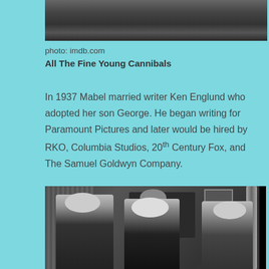[Figure (photo): Black and white photo, partial view at top of page showing what appears to be a film still or scene from All The Fine Young Cannibals]
photo: imdb.com
All The Fine Young Cannibals
In 1937 Mabel married writer Ken Englund who adopted her son George. He began writing for Paramount Pictures and later would be hired by RKO, Columbia Studios, 20th Century Fox, and The Samuel Goldwyn Company.
[Figure (photo): Black and white photo showing three people sitting together in what appears to be an indoor scene, a woman on the left smiling, an older man in the center, and a woman on the right]